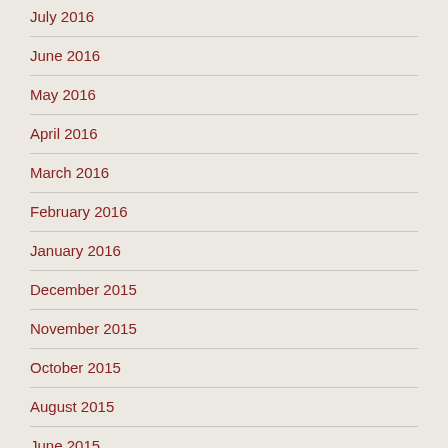July 2016
June 2016
May 2016
April 2016
March 2016
February 2016
January 2016
December 2015
November 2015
October 2015
August 2015
June 2015
February 2015
January 2015
December 2014